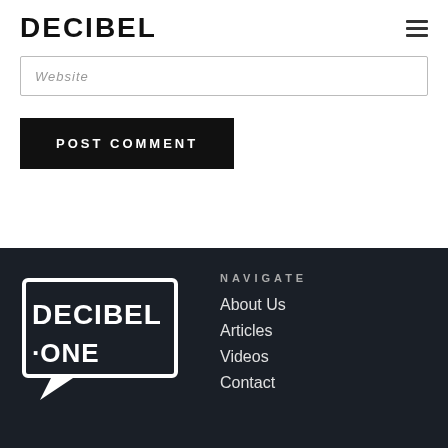DECIBEL
Website
POST COMMENT
[Figure (logo): Decibel One logo — white speech-bubble box with DECIBEL·ONE text inside, on dark background]
NAVIGATE
About Us
Articles
Videos
Contact